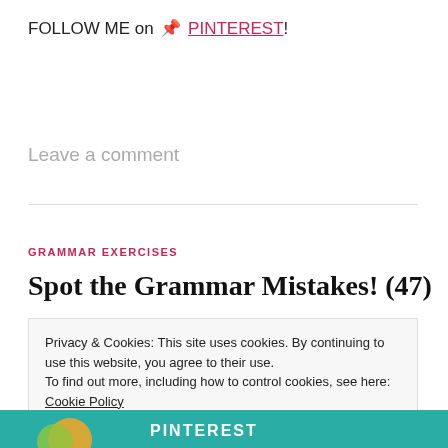FOLLOW ME on 📌 PINTEREST!
Leave a comment
GRAMMAR EXERCISES
Spot the Grammar Mistakes! (47)
Privacy & Cookies: This site uses cookies. By continuing to use this website, you agree to their use.
To find out more, including how to control cookies, see here:
Cookie Policy
Close and accept